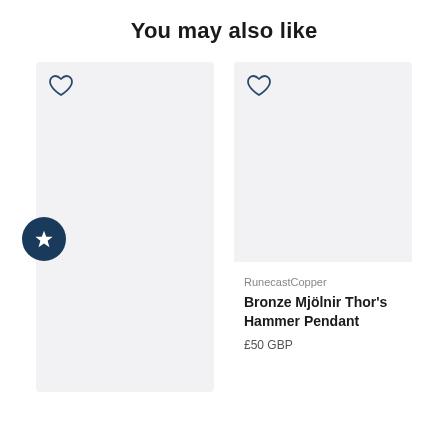You may also like
[Figure (screenshot): Product card (left) — light gray background placeholder image area with a heart/wishlist icon in the top-left corner and a dark teal star badge overlaid on the left edge. No product text visible.]
[Figure (screenshot): Product card (right) — light gray background placeholder image area with a heart/wishlist icon in the top-left corner. Below the image: seller name 'RunecastCopper', product title 'Bronze Mjölnir Thor's Hammer Pendant', price '£50 GBP'.]
RunecastCopper
Bronze Mjölnir Thor's Hammer Pendant
£50 GBP